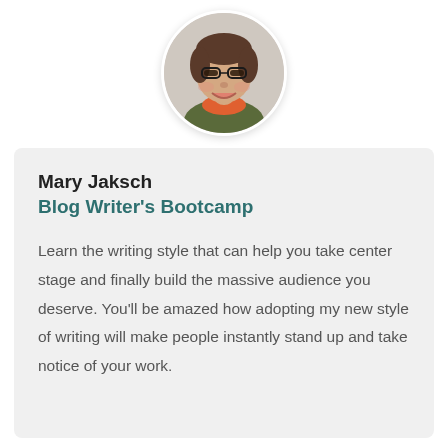[Figure (photo): Circular portrait photo of Mary Jaksch, a woman with short dark hair and glasses, smiling, wearing an orange scarf and olive jacket]
Mary Jaksch
Blog Writer's Bootcamp
Learn the writing style that can help you take center stage and finally build the massive audience you deserve. You'll be amazed how adopting my new style of writing will make people instantly stand up and take notice of your work.